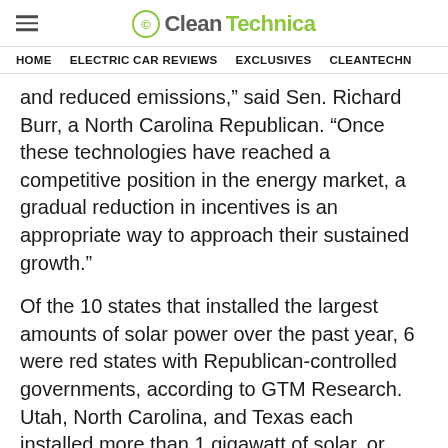CleanTechnica
HOME   ELECTRIC CAR REVIEWS   EXCLUSIVES   CLEANTECHN
and reduced emissions,” said Sen. Richard Burr, a North Carolina Republican. “Once these technologies have reached a competitive position in the energy market, a gradual reduction in incentives is an appropriate way to approach their sustained growth.”
Of the 10 states that installed the largest amounts of solar power over the past year, 6 were red states with Republican-controlled governments, according to GTM Research. Utah, North Carolina, and Texas each installed more than 1 gigawatt of solar, or enough to